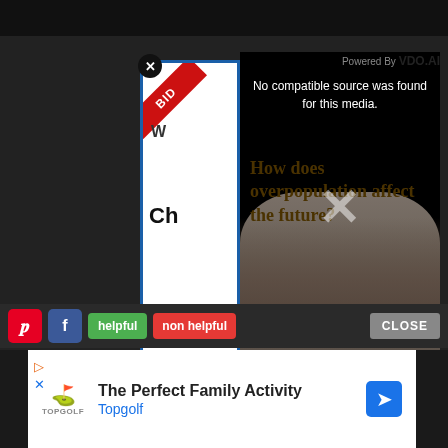[Figure (screenshot): Top black navigation bar]
[Figure (screenshot): Video player overlay showing 'No compatible source was found for this media.' error message, with background showing text 'How does overpopulation affect the future?' and a crowd of people. Has a close (X) button top-left and VDO.AI branding top-right.]
No compatible source was found for this media.
How does overpopulation affect the future?
Powered By VDO.AI
[Figure (screenshot): Left sidebar advertisement strip with blue border and red diagonal BID ribbon. Contains partial text 'W' and 'Ch']
[Figure (screenshot): Bottom action bar with Pinterest, Facebook, helpful and non helpful buttons, and CLOSE button]
helpful
non helpful
CLOSE
[Figure (screenshot): Advertisement for Topgolf showing logo, 'The Perfect Family Activity' title, 'Topgolf' subtitle, and navigation arrow]
The Perfect Family Activity
Topgolf